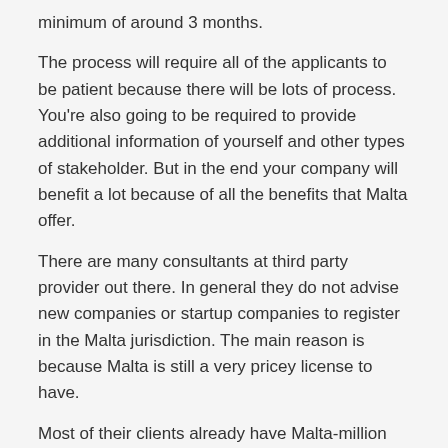minimum of around 3 months.
The process will require all of the applicants to be patient because there will be lots of process. You're also going to be required to provide additional information of yourself and other types of stakeholder. But in the end your company will benefit a lot because of all the benefits that Malta offer.
There are many consultants at third party provider out there. In general they do not advise new companies or startup companies to register in the Malta jurisdiction. The main reason is because Malta is still a very pricey license to have.
Most of their clients already have Malta-million dollars if not billion dollars worth of net worth. You were companies who try to apply will waste a lot of time and money in the process. Instead you can transition from another license to Malta later on.
Clients are sure to get their profit back after a couple of months. This is because Malta has a very good networking